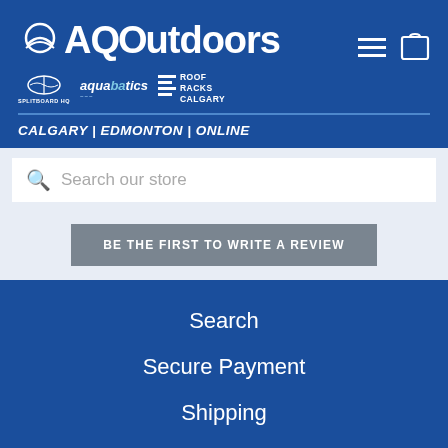[Figure (logo): AQOutdoors logo with sub-brand logos: Splitboard HQ, Aquabatics, Roof Racks Calgary]
CALGARY | EDMONTON | ONLINE
[Figure (screenshot): Search bar with search icon and placeholder text 'Search our store']
BE THE FIRST TO WRITE A REVIEW
Search
Secure Payment
Shipping
Returns & Warranties